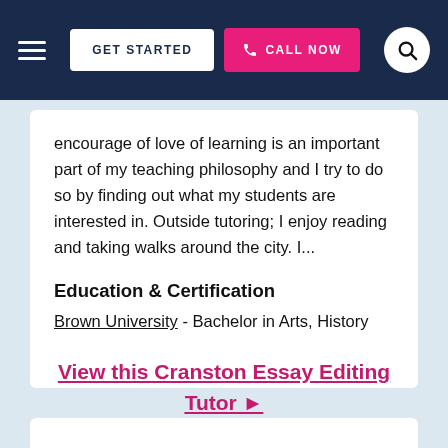GET STARTED  |  CALL NOW
encourage of love of learning is an important part of my teaching philosophy and I try to do so by finding out what my students are interested in. Outside tutoring; I enjoy reading and taking walks around the city. I...
Education & Certification
Brown University - Bachelor in Arts, History
View this Cranston Essay Editing Tutor ▶